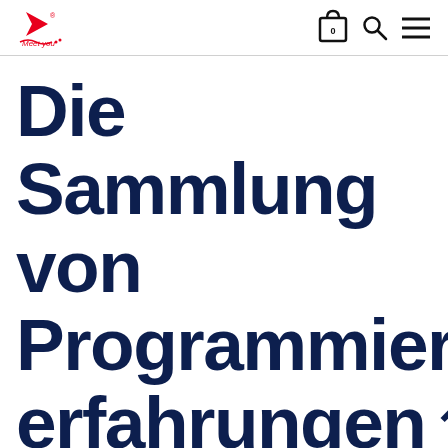Meet you — navigation header with logo, cart, search, and menu icons
Die Sammlung von Programmiererfahrungen in der CNC-